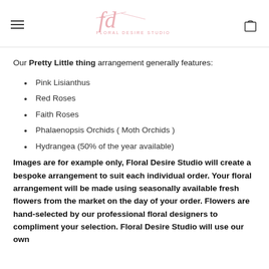Floral Desire Studio
Our Pretty Little thing arrangement generally features:
Pink Lisianthus
Red Roses
Faith Roses
Phalaenopsis Orchids ( Moth Orchids )
Hydrangea (50% of the year available)
Images are for example only, Floral Desire Studio will create a bespoke arrangement to suit each individual order. Your floral arrangement will be made using seasonally available fresh flowers from the market on the day of your order. Flowers are hand-selected by our professional floral designers to compliment your selection. Floral Desire Studio will use our own